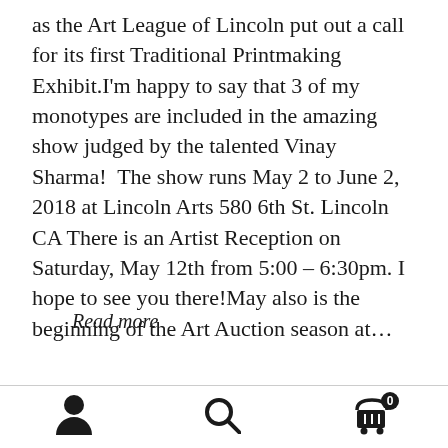as the Art League of Lincoln put out a call for its first Traditional Printmaking Exhibit.I'm happy to say that 3 of my monotypes are included in the amazing show judged by the talented Vinay Sharma!  The show runs May 2 to June 2, 2018 at Lincoln Arts 580 6th St. Lincoln CA There is an Artist Reception on Saturday, May 12th from 5:00 – 6:30pm. I hope to see you there!May also is the beginning of the Art Auction season at...
Read more
[icons: person, search, cart with 0]